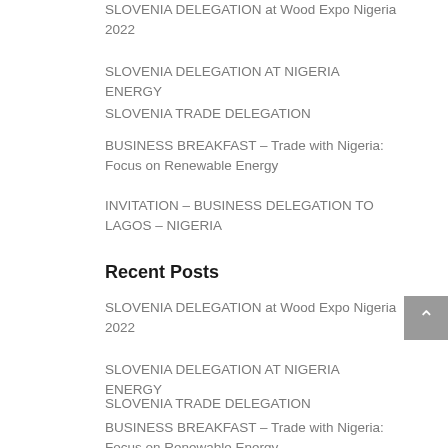SLOVENIA DELEGATION at Wood Expo Nigeria 2022
SLOVENIA DELEGATION AT NIGERIA ENERGY
SLOVENIA TRADE DELEGATION
BUSINESS BREAKFAST – Trade with Nigeria: Focus on Renewable Energy
INVITATION – BUSINESS DELEGATION TO LAGOS – NIGERIA
Recent Posts
SLOVENIA DELEGATION at Wood Expo Nigeria 2022
SLOVENIA DELEGATION AT NIGERIA ENERGY
SLOVENIA TRADE DELEGATION
BUSINESS BREAKFAST – Trade with Nigeria: Focus on Renewable Energy